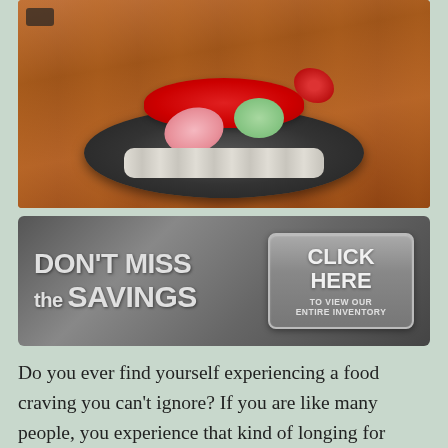[Figure (photo): Close-up photo of a sushi platter on a dark oval plate placed on a wooden table. The sushi rolls are decorated with red fish roe, pink ginger, green wasabi, and red flower garnish.]
[Figure (infographic): Dark gray advertisement banner reading 'DON'T MISS the SAVINGS' on the left and a button on the right saying 'CLICK HERE TO VIEW OUR ENTIRE INVENTORY']
Do you ever find yourself experiencing a food craving you can't ignore? If you are like many people, you experience that kind of longing for sushi from time to time. And when you start to